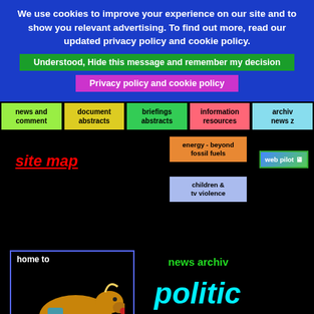We use cookies to improve your experience on our site and to show you relevant advertising. To find out more, read our updated privacy policy and cookie policy.
Understood, Hide this message and remember my decision
Privacy policy and cookie policy
news and comment
document abstracts
briefings abstracts
information resources
archive news z
site map
energy - beyond fossil fuels
children & tv violence
web pilot
[Figure (illustration): Illustration of a yak with 'home to' text above and 'abelard' text below]
news archive
politic